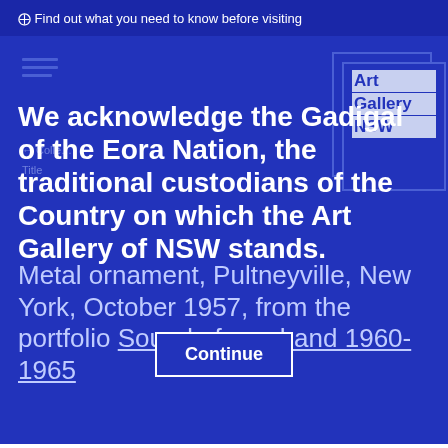⊕ Find out what you need to know before visiting
[Figure (logo): Art Gallery NSW logo with nested border box design]
We acknowledge the Gadigal of the Eora Nation, the traditional custodians of the Country on which the Art Gallery of NSW stands.
Metal ornament, Pultneyville, New York, October 1957, from the portfolio Sound of one hand 1960-1965
Continue